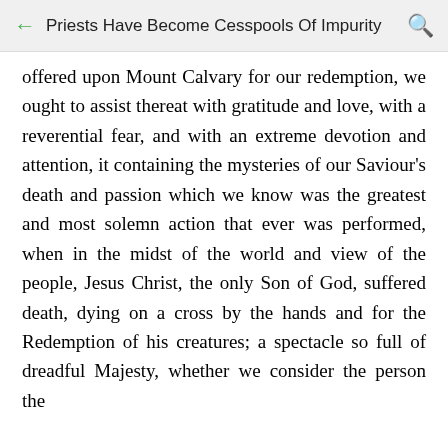Priests Have Become Cesspools Of Impurity
offered upon Mount Calvary for our redemption, we ought to assist thereat with gratitude and love, with a reverential fear, and with an extreme devotion and attention, it containing the mysteries of our Saviour's death and passion which we know was the greatest and most solemn action that ever was performed, when in the midst of the world and view of the people, Jesus Christ, the only Son of God, suffered death, dying on a cross by the hands and for the Redemption of his creatures; a spectacle so full of dreadful Majesty, whether we consider the person the